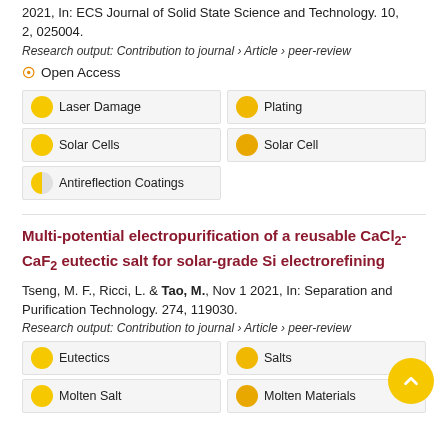2021, In: ECS Journal of Solid State Science and Technology. 10, 2, 025004.
Research output: Contribution to journal › Article › peer-review
Open Access
Laser Damage
Plating
Solar Cells
Solar Cell
Antireflection Coatings
Multi-potential electropurification of a reusable CaCl₂-CaF₂ eutectic salt for solar-grade Si electrorefining
Tseng, M. F., Ricci, L. & Tao, M., Nov 1 2021, In: Separation and Purification Technology. 274, 119030.
Research output: Contribution to journal › Article › peer-review
Eutectics
Salts
Molten Salt
Molten Materials